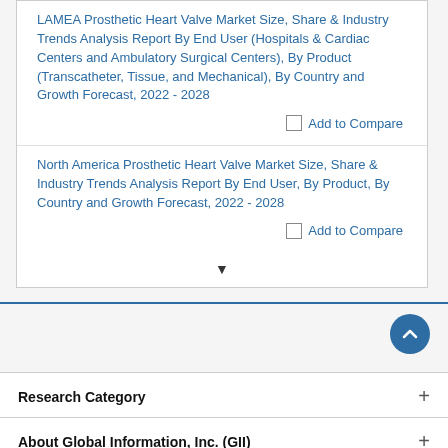LAMEA Prosthetic Heart Valve Market Size, Share & Industry Trends Analysis Report By End User (Hospitals & Cardiac Centers and Ambulatory Surgical Centers), By Product (Transcatheter, Tissue, and Mechanical), By Country and Growth Forecast, 2022 - 2028
Add to Compare
North America Prosthetic Heart Valve Market Size, Share & Industry Trends Analysis Report By End User, By Product, By Country and Growth Forecast, 2022 - 2028
Add to Compare
Research Category
About Global Information, Inc. (GII)